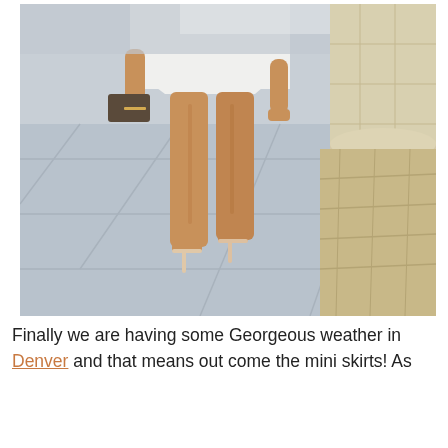[Figure (photo): A woman wearing a white mini skirt and nude heeled sandals holding a clutch bag, walking on grey stone tile pavers with a stone fountain/wall feature visible on the right side of the frame. Only the lower body and legs are visible.]
Finally we are having some Georgeous weather in Denver and that means out come the mini skirts! As